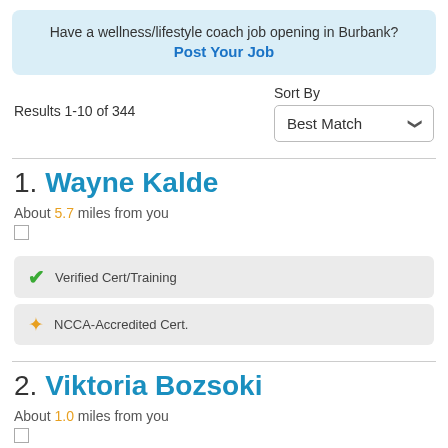Have a wellness/lifestyle coach job opening in Burbank? Post Your Job
Results 1-10 of 344
Sort By
Best Match
1. Wayne Kalde
About 5.7 miles from you
Verified Cert/Training
NCCA-Accredited Cert.
2. Viktoria Bozsoki
About 1.0 miles from you